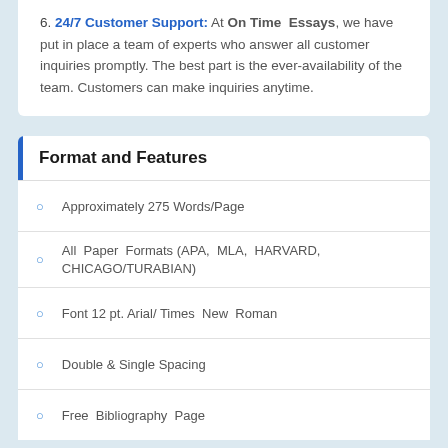6. 24/7 Customer Support: At On Time Essays, we have put in place a team of experts who answer all customer inquiries promptly. The best part is the ever-availability of the team. Customers can make inquiries anytime.
Format and Features
Approximately 275 Words/Page
All Paper Formats (APA, MLA, HARVARD, CHICAGO/TURABIAN)
Font 12 pt. Arial/ Times New Roman
Double & Single Spacing
Free Bibliography Page